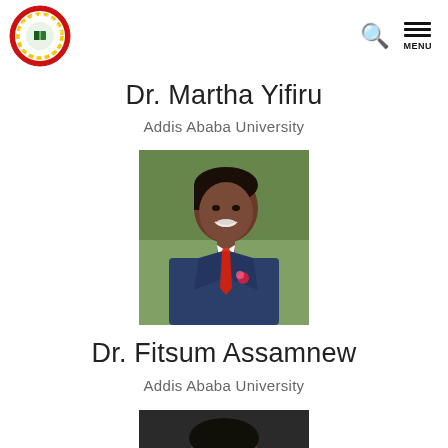Addis Ababa University — navigation header with logo, search, and menu
Dr. Martha Yifiru
Addis Ababa University
[Figure (photo): Portrait photo of Dr. Fitsum Assamnew, a young man in a blue suit with a red tie, smiling]
Dr. Fitsum Assamnew
Addis Ababa University